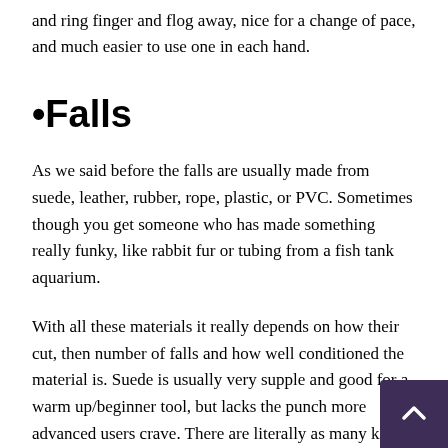and ring finger and flog away, nice for a change of pace, and much easier to use one in each hand.
•Falls
As we said before the falls are usually made from suede, leather, rubber, rope, plastic, or PVC. Sometimes though you get someone who has made something really funky, like rabbit fur or tubing from a fish tank aquarium.
With all these materials it really depends on how their cut, then number of falls and how well conditioned the material is. Suede is usually very supple and good for a warm up/beginner tool, but lacks the punch more advanced users crave. There are literally as many kinds of leather out there as there are critters walking the earth, mostly though leather is limited to cow, deer,